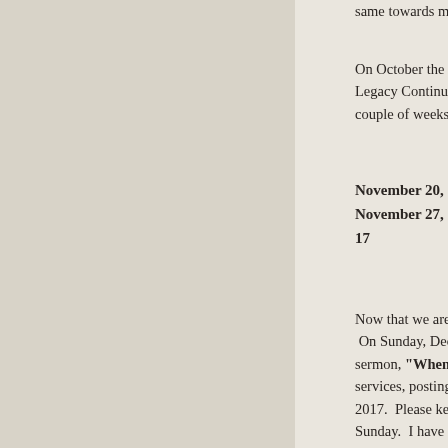same towards me.  Therefore, we can love one a...
On October the 2nd, I began a 7-week series... Legacy Continues."  This series concluded on N... couple of weeks to preach on Giving Thanks:
November 20, 2016: "What to do in the Meanti...
November 27, 2016: "The Supernatural Powe...
17
Now that we are in Advent, I am simply preach...  On Sunday, December 4, 2016. I tried my best t... sermon, "When God Doesn't Make Sense."  M... services, posting our messages and expanding... 2017.  Please keep us in this regard.  In short,... Sunday.  I have been going nonstop since my... couple of meetings on Saturday, as well.  I four... 1am or so, Sunday morning.  I laid down Sund... when my wife said, "It's time for you to get up."